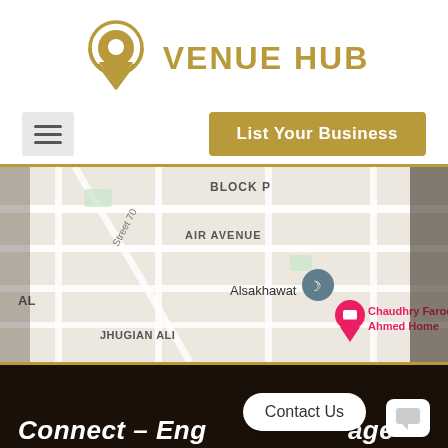[Figure (logo): Venue Hub logo: a gold location pin icon with a circle on top and downward arrow, next to bold gold 'VENUE HUB' text]
[Figure (screenshot): Navigation bar with hamburger menu button on left and gold 'List Your Business' button on right]
[Figure (map): Google Maps snippet showing Air Avenue, Block P, Street 70, Jhugian Ali, AL labels. A teal location pin marks Alsakhawat. A pink location pin marks Chaudhry Farooq Ahmed Home.]
Connect – Engage – Excite
[Figure (other): Contact Us button bubble and chat icon visible at bottom right over dark footer]